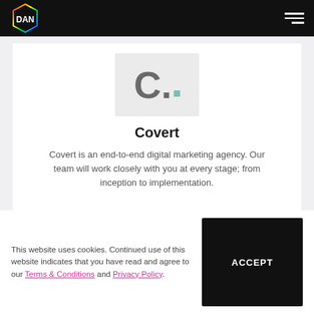DAN — navigation header with logo and hamburger menu
[Figure (logo): Covert agency logo: large stylized 'C.' with a teal square dot on a light grey background]
Covert
Covert is an end-to-end digital marketing agency. Our team will work closely with you at every stage; from inception to implementation.
This website uses cookies. Continued use of this website indicates that you have read and agree to our Terms & Conditions and Privacy Policy.